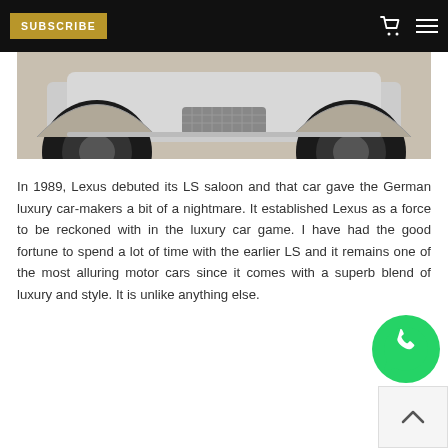SUBSCRIBE
[Figure (photo): Close-up bottom view of a Lexus LS car showing wheels and undercarriage against a light background]
In 1989, Lexus debuted its LS saloon and that car gave the German luxury car-makers a bit of a nightmare. It established Lexus as a force to be reckoned with in the luxury car game. I have had the good fortune to spend a lot of time with the earlier LS and it remains one of the most alluring motor cars since it comes with a superb blend of luxury and style. It is unlike anything else.
[Figure (logo): WhatsApp contact button (green circle with phone icon)]